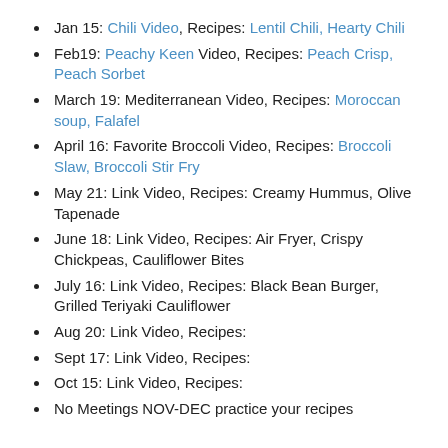Jan 15: Chili Video, Recipes: Lentil Chili, Hearty Chili
Feb19: Peachy Keen Video, Recipes: Peach Crisp, Peach Sorbet
March 19: Mediterranean Video, Recipes: Moroccan soup, Falafel
April 16: Favorite Broccoli Video, Recipes: Broccoli Slaw, Broccoli Stir Fry
May 21: Link Video, Recipes: Creamy Hummus, Olive Tapenade
June 18: Link Video, Recipes: Air Fryer, Crispy Chickpeas, Cauliflower Bites
July 16: Link Video, Recipes: Black Bean Burger, Grilled Teriyaki Cauliflower
Aug 20: Link Video, Recipes:
Sept 17: Link Video, Recipes:
Oct 15: Link Video, Recipes:
No Meetings NOV-DEC practice your recipes